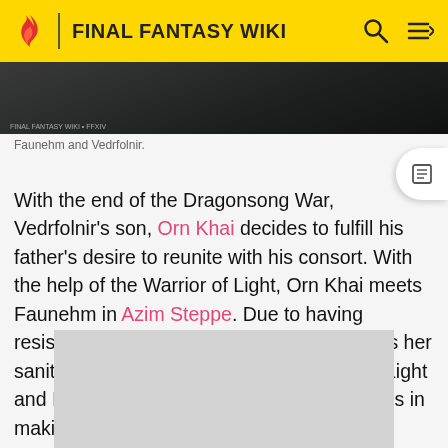FINAL FANTASY WIKI
[Figure (photo): Partial screenshot of Faunehm and Vedrfolnir image, darkened scene]
Faunehm and Vedrfolnir.
With the end of the Dragonsong War, Vedrfolnir's son, Orn Khai decides to fulfill his father's desire to reunite with his consort. With the help of the Warrior of Light, Orn Khai meets Faunehm in Azim Steppe. Due to having resisted Nidhogg's call for so long, she loses her sanity and while she attacks the Warrior of Light and Estinien, Vedrfolnir arrives and succeeds in making his consort regain her sanity.
[Figure (photo): Partially visible image at bottom of page, gray placeholder]